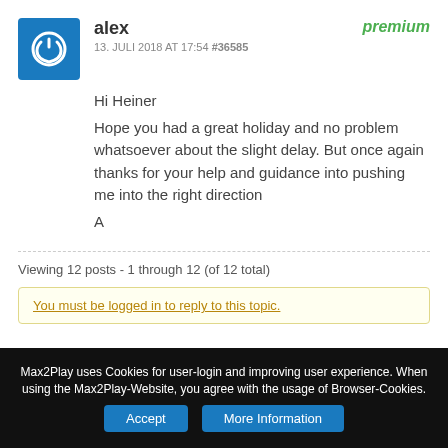alex
13. JULI 2018 AT 17:54 #36585
premium
Hi Heiner
Hope you had a great holiday and no problem whatsoever about the slight delay. But once again thanks for your help and guidance into pushing me into the right direction
A
Viewing 12 posts - 1 through 12 (of 12 total)
You must be logged in to reply to this topic.
Max2Play uses Cookies for user-login and improving user experience. When using the Max2Play-Website, you agree with the usage of Browser-Cookies.
Accept
More Information